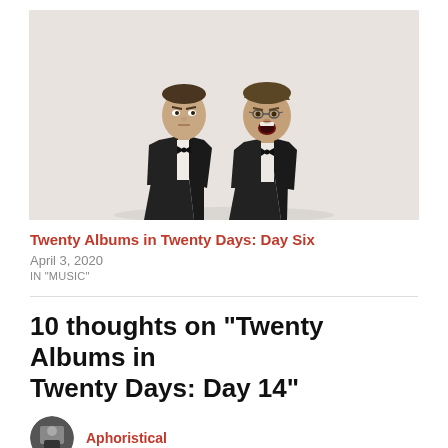[Figure (photo): Two men in black tuxedos against a light background. One looks serious, the other has his mouth open yawning or singing.]
Twenty Albums in Twenty Days: Day Six
April 3, 2020
IN "MUSIC"
10 thoughts on “Twenty Albums in Twenty Days: Day 14”
Aphoristical